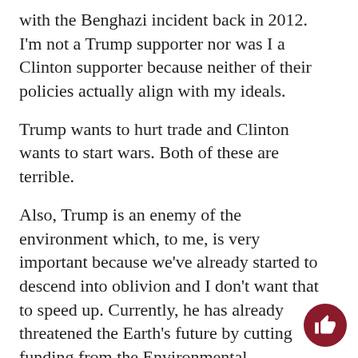with the Benghazi incident back in 2012. I'm not a Trump supporter nor was I a Clinton supporter because neither of their policies actually align with my ideals.
Trump wants to hurt trade and Clinton wants to start wars. Both of these are terrible.
Also, Trump is an enemy of the environment which, to me, is very important because we've already started to descend into oblivion and I don't want that to speed up. Currently, he has already threatened the Earth's future by cutting funding from the Environmental Protection Agency and reversing Obama's bill to stop the Dakota Oil Pipeline. This is a step in the wrong direction and is what worries me the most.
Acceptance